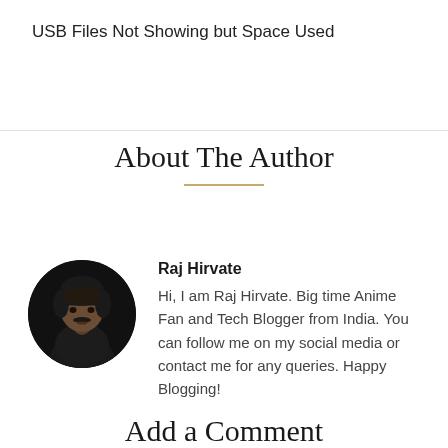USB Files Not Showing but Space Used
About The Author
[Figure (photo): Circular profile photo of Raj Hirvate, a young man with dark hair and a mustache, wearing a black shirt against a dark background.]
Raj Hirvate
Hi, I am Raj Hirvate. Big time Anime Fan and Tech Blogger from India. You can follow me on my social media or contact me for any queries. Happy Blogging!
Add a Comment